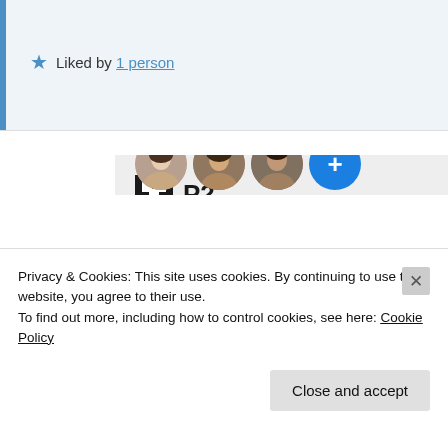★ Liked by 1 person
[Figure (screenshot): P2 promotional widget showing logo, headline 'Getting your team on the same page is easy. And free.' and avatar circles]
Privacy & Cookies: This site uses cookies. By continuing to use this website, you agree to their use. To find out more, including how to control cookies, see here: Cookie Policy
Close and accept